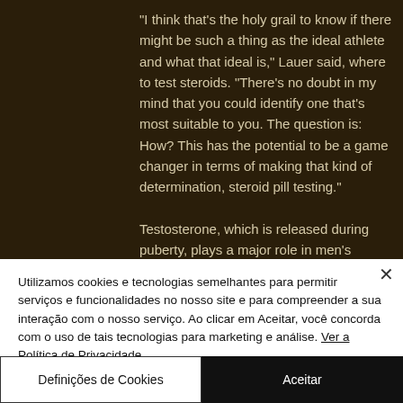"I think that's the holy grail to know if there might be such a thing as the ideal athlete and what that ideal is," Lauer said, where to test steroids. "There's no doubt in my mind that you could identify one that's most suitable to you. The question is: How? This has the potential to be a game changer in terms of making that kind of determination, steroid pill testing."

Testosterone, which is released during puberty, plays a major role in men's
Utilizamos cookies e tecnologias semelhantes para permitir serviços e funcionalidades no nosso site e para compreender a sua interação com o nosso serviço. Ao clicar em Aceitar, você concorda com o uso de tais tecnologias para marketing e análise. Ver a Política de Privacidade